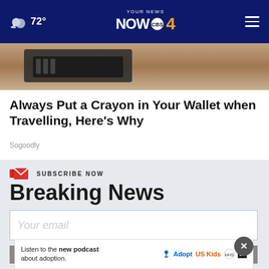72° YOUR NEWS NOW CBS 4
[Figure (photo): Partial image of a wallet or dark object, cropped at top of page]
Always Put a Crayon in Your Wallet when Travelling, Here's Why
Sogoodly
SUBSCRIBE NOW
Breaking News
Your email
Listen to the new podcast about adoption.